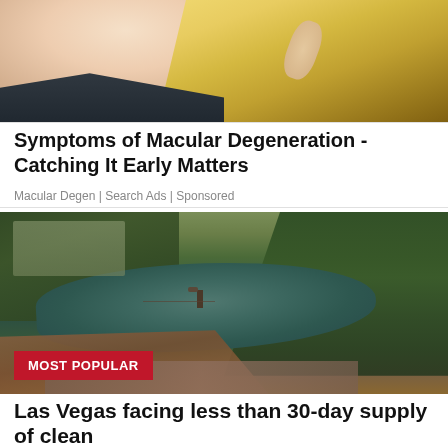[Figure (photo): Close-up photo of a blonde woman touching her face, wearing a dark jacket]
Symptoms of Macular Degeneration - Catching It Early Matters
Macular Degen | Search Ads | Sponsored
[Figure (photo): Aerial view of a reservoir surrounded by pine trees and forested hills, with a dirt road shoreline and a structure in the water. A red badge reads MOST POPULAR.]
Las Vegas facing less than 30-day supply of clean